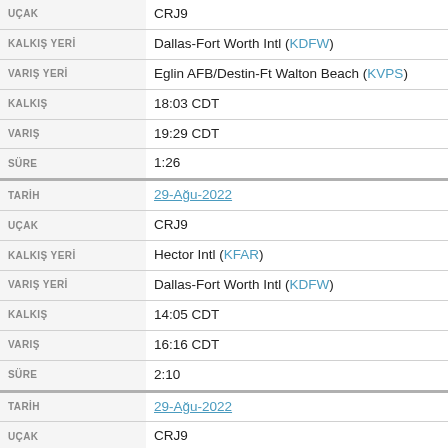| Field | Value |
| --- | --- |
| UÇAK | CRJ9 |
| KALKIŞ YERİ | Dallas-Fort Worth Intl (KDFW) |
| VARIŞ YERİ | Eglin AFB/Destin-Ft Walton Beach (KVPS) |
| KALKIŞ | 18:03 CDT |
| VARIŞ | 19:29 CDT |
| SÜRE | 1:26 |
| TARİH | 29-Ağu-2022 |
| UÇAK | CRJ9 |
| KALKIŞ YERİ | Hector Intl (KFAR) |
| VARIŞ YERİ | Dallas-Fort Worth Intl (KDFW) |
| KALKIŞ | 14:05 CDT |
| VARIŞ | 16:16 CDT |
| SÜRE | 2:10 |
| TARİH | 29-Ağu-2022 |
| UÇAK | CRJ9 |
| KALKIŞ YERİ | Dallas-Fort Worth Intl (KDFW) |
| VARIŞ YERİ | Hector Intl (KFAR) |
| KALKIŞ | 10:53 CDT |
| VARIŞ | 13:09 CDT |
| SÜRE | 2:15 |
| TARİH | 29-Ağu-2022 |